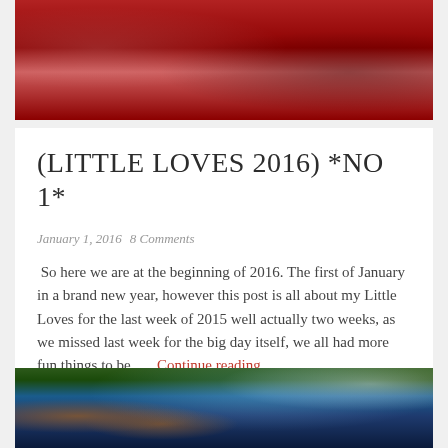[Figure (photo): Close-up photo of food, appears to be meat or bacon with red/orange coloring on a pink/red background]
(LITTLE LOVES 2016) *NO 1*
January 1, 2016   8 Comments
So here we are at the beginning of 2016. The first of January in a brand new year, however this post is all about my Little Loves for the last week of 2015 well actually two weeks, as we missed last week for the big day itself, we all had more fun things to be . . . Continue reading
[Figure (photo): Animated Christmas scene with stick figure characters (Stick Man) and Santa's sleigh flying in the background, with a Christmas wreath on the left]